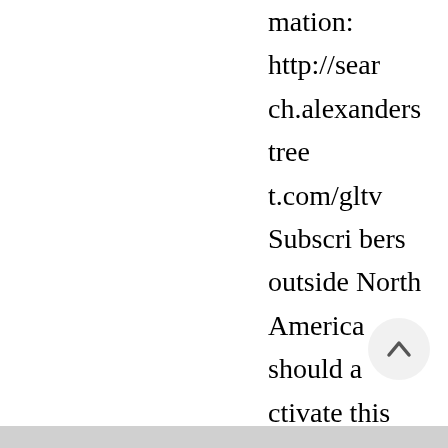mation: http://search.alexanderstreet.com/gltv Subscribers outside North America should activate this collection. The availability status for all records in this collection is set to "Full text available". We recommend that only subscribers activate this collection.